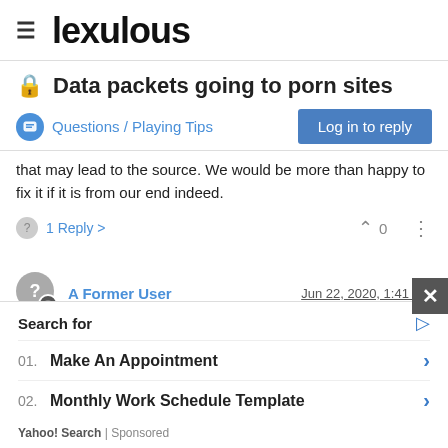lexulous
Data packets going to porn sites
Questions / Playing Tips
that may lead to the source. We would be more than happy to fix it if it is from our end indeed.
1 Reply > 0
A Former User  Jun 22, 2020, 1:41 PM
@betterlate1 I did, but I've a feeling it had stopped this behaviour earlier. I'll investigate later when I can get to my other phone and
Search for
01. Make An Appointment
02. Monthly Work Schedule Template
Yahoo! Search | Sponsored